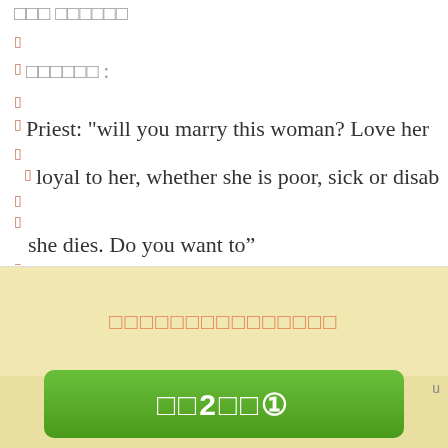□□□ □□□□□□
□
□
□□□□□□ :
□
□ Priest: "will you marry this woman? Love her
□
loyal to her, whether she is poor, sick or disab
□
□
she dies. Do you want to”
□
□
Bridegroom: "yes! "
□
□□□□□□□□□□□□□□□
□□2□□①